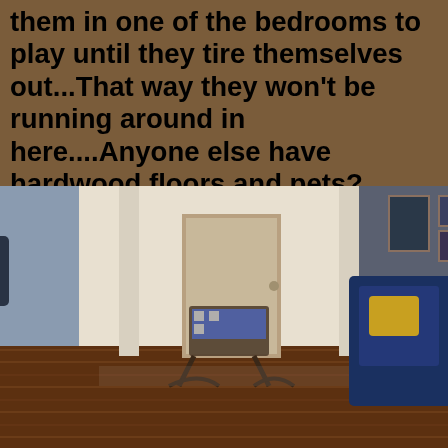them in one of the bedrooms to play until they tire themselves out...That way they won't be running around in here....Anyone else have hardwood floors and pets?
[Figure (photo): Interior photo of a home showing a hallway with hardwood floors, a rocking chair with a patterned cushion, blue sofa/armchair, coats hanging on the left wall, and a door at the end of the hallway.]